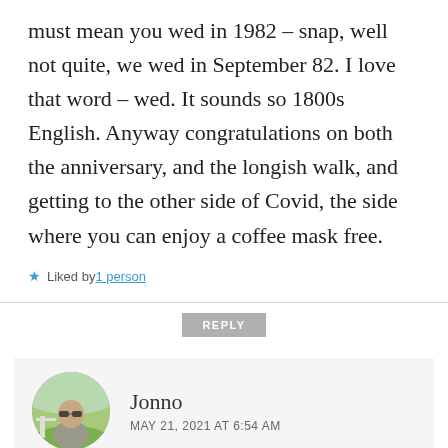must mean you wed in 1982 – snap, well not quite, we wed in September 82. I love that word – wed. It sounds so 1800s English. Anyway congratulations on both the anniversary, and the longish walk, and getting to the other side of Covid, the side where you can enjoy a coffee mask free.
★ Liked by 1 person
REPLY
[Figure (photo): Circular avatar photo of a man wearing sunglasses and a grey t-shirt, standing outdoors with arms crossed.]
Jonno
MAY 21, 2021 AT 6:54 AM
You're right, we were